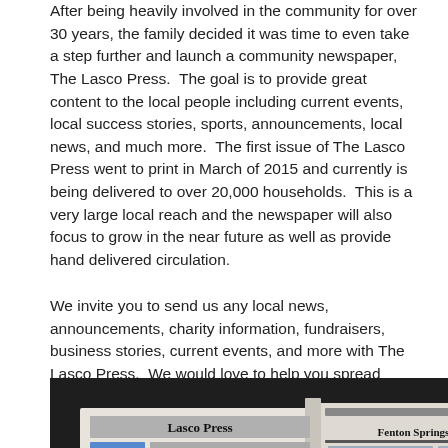After being heavily involved in the community for over 30 years, the family decided it was time to even take a step further and launch a community newspaper, The Lasco Press.  The goal is to provide great content to the local people including current events, local success stories, sports, announcements, local news, and much more.  The first issue of The Lasco Press went to print in March of 2015 and currently is being delivered to over 20,000 households.  This is a very large local reach and the newspaper will also focus to grow in the near future as well as provide hand delivered circulation.
We invite you to send us any local news, announcements, charity information, fundraisers, business stories, current events, and more with The Lasco Press.  We would love to help you spread positive news around our community.
[Figure (photo): A photograph of The Lasco Press newspaper opened and displayed on a dark surface, with the headline 'Fenton Springs Into 2015' visible on the front page.]